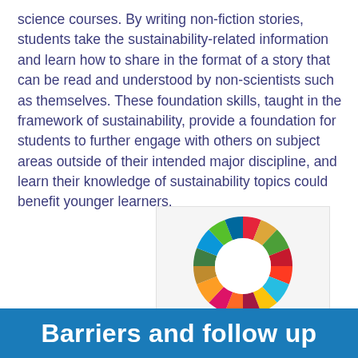science courses. By writing non-fiction stories, students take the sustainability-related information and learn how to share in the format of a story that can be read and understood by non-scientists such as themselves. These foundation skills, taught in the framework of sustainability, provide a foundation for students to further engage with others on subject areas outside of their intended major discipline, and learn their knowledge of sustainability topics could benefit younger learners.
[Figure (logo): UN Sustainable Development Goals (SDG) wheel/ring logo made up of 17 colored segments arranged in a circle, representing the 17 SDGs.]
Barriers and follow up